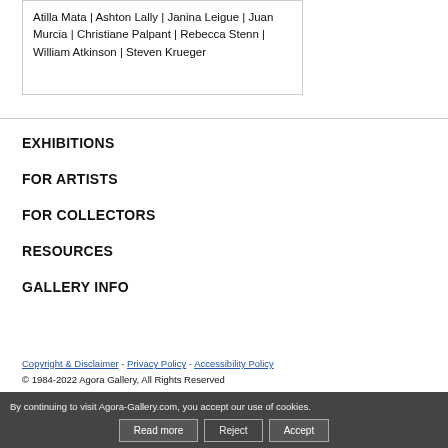Atilla Mata | Ashton Lally | Janina Leigue | Juan Murcia | Christiane Palpant | Rebecca Stenn | William Atkinson | Steven Krueger
EXHIBITIONS
FOR ARTISTS
FOR COLLECTORS
RESOURCES
GALLERY INFO
Copyright & Disclaimer - Privacy Policy - Accessibility Policy
© 1984-2022 Agora Gallery, All Rights Reserved
By continuing to visit Agora-Gallery.com, you accept our use of cookies.
Read more   Reject   Accept